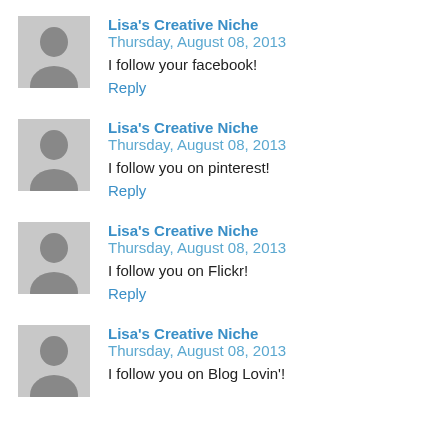Lisa's Creative Niche  Thursday, August 08, 2013
I follow your facebook!
Reply
Lisa's Creative Niche  Thursday, August 08, 2013
I follow you on pinterest!
Reply
Lisa's Creative Niche  Thursday, August 08, 2013
I follow you on Flickr!
Reply
Lisa's Creative Niche  Thursday, August 08, 2013
I follow you on Blog Lovin'!